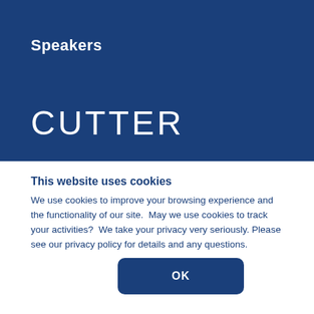Speakers
CUTTER
This website uses cookies
We use cookies to improve your browsing experience and the functionality of our site.  May we use cookies to track your activities?  We take your privacy very seriously. Please see our privacy policy for details and any questions.
OK